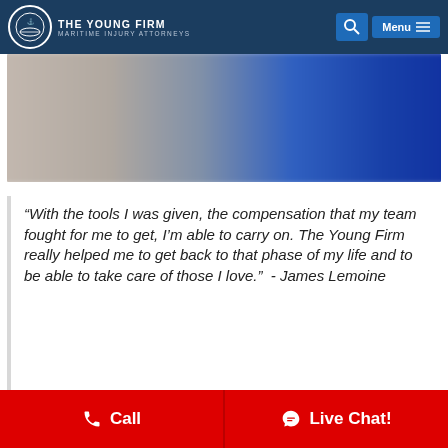The Young Firm — Maritime Injury Attorneys
[Figure (photo): Blurred background image showing partial blue color on right side, possibly a uniform or water scene.]
“With the tools I was given, the compensation that my team fought for me to get, I’m able to carry on. The Young Firm really helped me to get back to that phase of my life and to be able to take care of those I love.”  -  James Lemoine
Call | Live Chat!